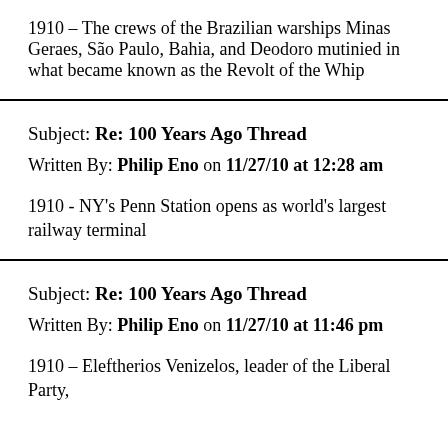1910 – The crews of the Brazilian warships Minas Geraes, São Paulo, Bahia, and Deodoro mutinied in what became known as the Revolt of the Whip
Subject: Re: 100 Years Ago Thread
Written By: Philip Eno on 11/27/10 at 12:28 am
1910 - NY's Penn Station opens as world's largest railway terminal
Subject: Re: 100 Years Ago Thread
Written By: Philip Eno on 11/27/10 at 11:46 pm
1910 – Eleftherios Venizelos, leader of the Liberal Party,